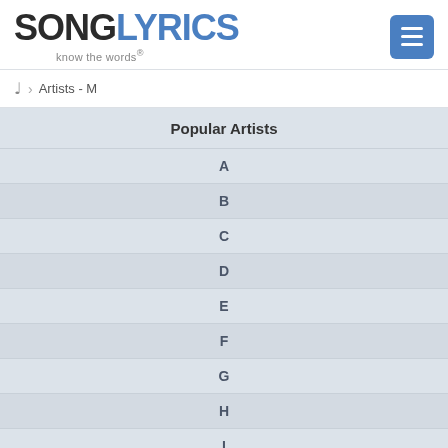[Figure (logo): SongLyrics logo with 'know the words®' tagline and hamburger menu button]
Artists - M
Popular Artists
A
B
C
D
E
F
G
H
I